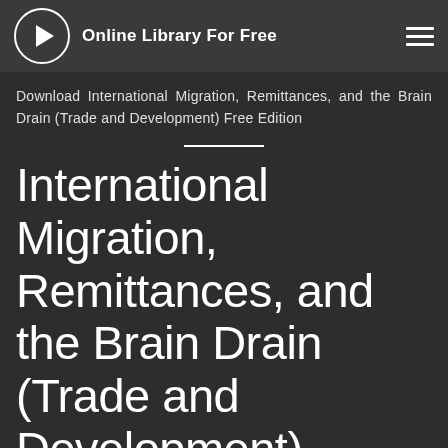Online Library For Free
Download International Migration, Remittances, and the Brain Drain (Trade and Development) Free Edition
International Migration, Remittances, and the Brain Drain (Trade and Development) Related